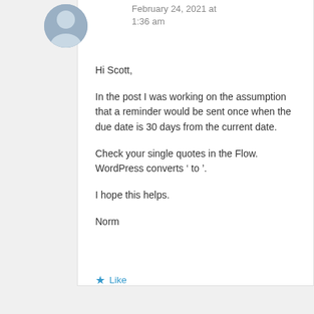February 24, 2021 at 1:36 am
Hi Scott,

In the post I was working on the assumption that a reminder would be sent once when the due date is 30 days from the current date.

Check your single quotes in the Flow. WordPress converts ‘ to ’.

I hope this helps.

Norm
Like